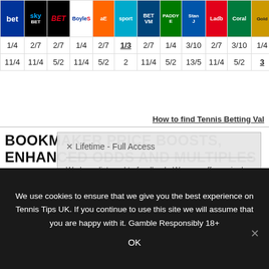| bet | sky | BET | Boyle | AE | sport | BETV | PADDY | Stan | Ladb | Coral | Gold | wm |
| --- | --- | --- | --- | --- | --- | --- | --- | --- | --- | --- | --- | --- |
| 1/4 | 2/7 | 2/7 | 1/4 | 2/7 | 1/3 | 2/7 | 1/4 | 3/10 | 2/7 | 3/10 | 1/4 | 1/4 |
| 11/4 | 11/4 | 5/2 | 11/4 | 5/2 | 2 | 11/4 | 5/2 | 13/5 | 11/4 | 5/2 | 3 | 11/4 |
How to find Tennis Betting Va...
BOOKMAKER PRICE BOOSTS, ENHANCED ODDS AND MULTIPLES
Another key area to look at regularly is bookmaker promotions. For example if you browse the tennis...
[Figure (screenshot): Popup modal with text: We have listened to feedback. We now offer a single membership with a one-off fee that gives access to every single selection.]
We use cookies to ensure that we give you the best experience on Tennis Tips UK. If you continue to use this site we will assume that you are happy with it. Gamble Responsibly 18+
OK